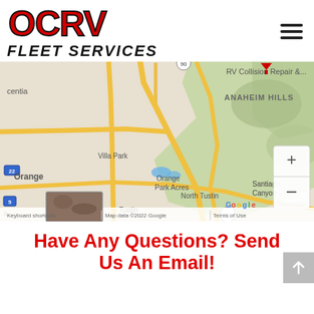[Figure (logo): OCRV Fleet Services logo with red OCRV letters and black italic FLEET SERVICES text]
[Figure (map): Google Maps view showing Anaheim Hills, Orange, Villa Park, Orange Park Acres, North Tustin, Santiago Canyon, Silverado areas with a location pin for RV Collision Repair. Map data ©2022 Google. Shows keyboard shortcuts and Terms of Use.]
Have Any Questions? Send Us An Email!